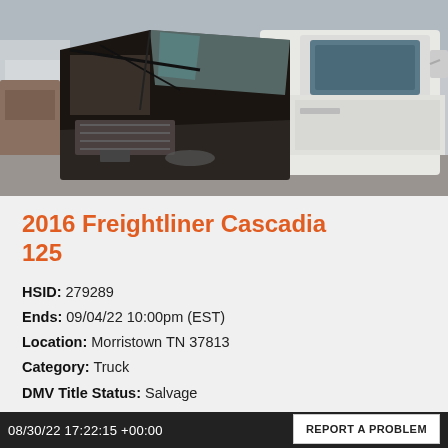[Figure (photo): Severely damaged white Freightliner Cascadia 125 semi-truck at a salvage yard. The front cab and engine area are heavily crushed and destroyed. Other vehicles visible in the background.]
2016 Freightliner Cascadia 125
HSID: 279289
Ends: 09/04/22 10:00pm (EST)
Location: Morristown TN 37813
Category: Truck
DMV Title Status: Salvage
Posted On: 08/29/22
Details
08/30/22 17:22:15 +00:00
REPORT A PROBLEM